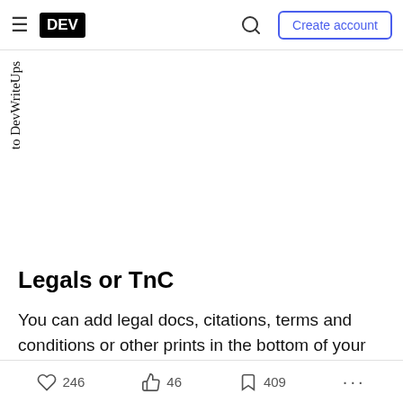DEV — Create account
to DevWriteUps
Legals or TnC
You can add legal docs, citations, terms and conditions or other prints in the bottom of your page with <small> tag.
246 likes  46 reactions  409 bookmarks